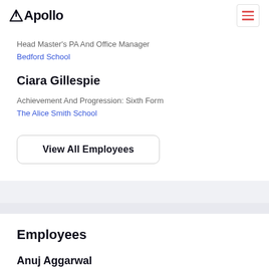Apollo
Head Master's PA And Office Manager
Bedford School
Ciara Gillespie
Achievement And Progression: Sixth Form
The Alice Smith School
View All Employees
Employees
Anuj Aggarwal
Teacher of Mathematics and Further Mathematics